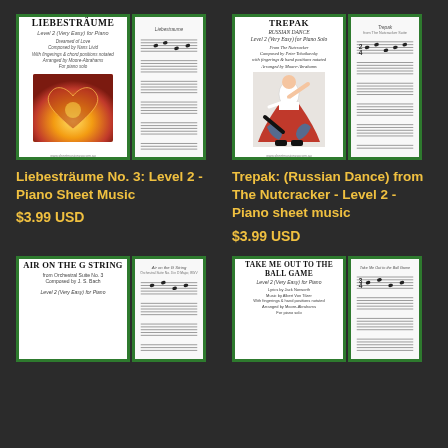[Figure (illustration): Cover and sheet music preview for Liebesträume No. 3: Level 2 (Very Easy) for Piano - shows cover with heart shape image and sample sheet music]
Liebesträume No. 3: Level 2 - Piano Sheet Music
$3.99 USD
[Figure (illustration): Cover and sheet music preview for Trepak (Russian Dance) from The Nutcracker - Level 2 (Very Easy) for Piano Solo - shows cover with Russian dancer and sample sheet music]
Trepak: (Russian Dance) from The Nutcracker - Level 2 - Piano sheet music
$3.99 USD
[Figure (illustration): Cover and sheet music preview for Air on the G String from Orchestral Suite No. 3, Composed by J.S. Bach - Level 2 (Very Easy) for Piano]
[Figure (illustration): Cover and sheet music preview for Take Me Out to the Ball Game - Level 2 (Very Easy) for Piano]